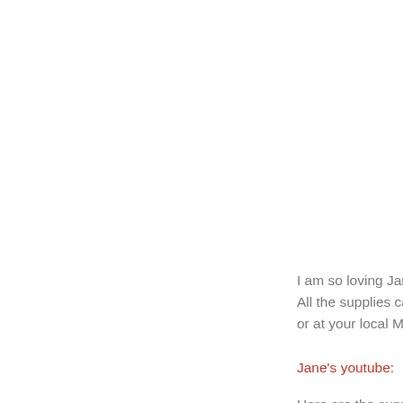I am so loving Jane... All the supplies can... or at your local Mich...
Jane's youtube:
Here are the suppli... Face base paint ma... Marmalicious brush...